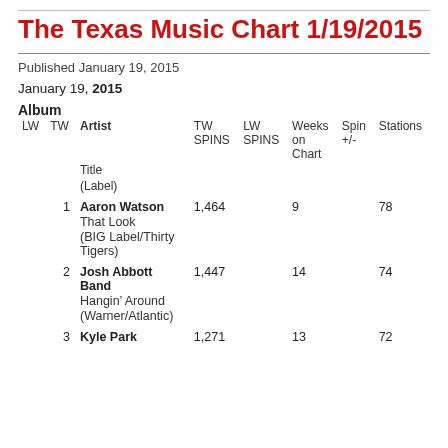The Texas Music Chart 1/19/2015
Published January 19, 2015
January 19, 2015
| LW | TW | Artist / Title / (Label) | TW SPINS | LW SPINS | Weeks on Chart | Spin +/- | Stations |
| --- | --- | --- | --- | --- | --- | --- | --- |
|  | 1 | Aaron Watson
That Look
(BIG Label/Thirty Tigers) | 1,464 |  | 9 |  | 78 |
|  | 2 | Josh Abbott Band
Hangin' Around
(Warner/Atlantic) | 1,447 |  | 14 |  | 74 |
|  | 3 | Kyle Park | 1,271 |  | 13 |  | 72 |